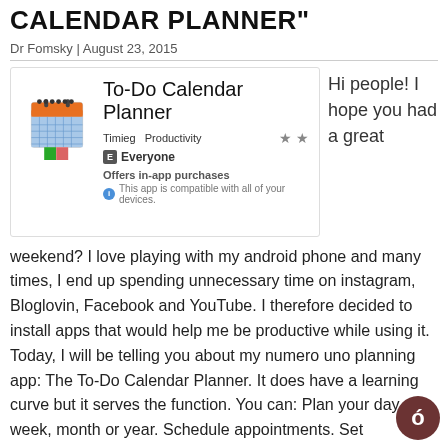CALENDAR PLANNER"
Dr Fomsky | August 23, 2015
[Figure (screenshot): App store listing for To-Do Calendar Planner by Timieg, Productivity category, rated Everyone, offers in-app purchases, compatible with all devices.]
Hi people! I hope you had a great
weekend? I love playing with my android phone and many times, I end up spending unnecessary time on instagram, Bloglovin, Facebook and YouTube. I therefore decided to install apps that would help me be productive while using it. Today, I will be telling you about my numero uno planning app: The To-Do Calendar Planner. It does have a learning curve but it serves the function. You can: Plan your day, week, month or year. Schedule appointments. Set reminders. Plan goals. Etc. To download it,